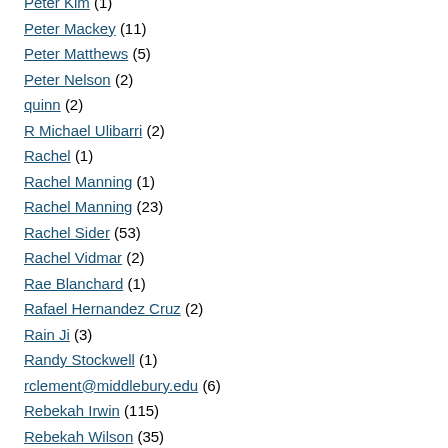Peter Kim (1)
Peter Mackey (11)
Peter Matthews (5)
Peter Nelson (2)
quinn (2)
R Michael Ulibarri (2)
Rachel (1)
Rachel Manning (1)
Rachel Manning (23)
Rachel Sider (53)
Rachel Vidmar (2)
Rae Blanchard (1)
Rafael Hernandez Cruz (2)
Rain Ji (3)
Randy Stockwell (1)
rclement@middlebury.edu (6)
Rebekah Irwin (115)
Rebekah Wilson (35)
Richard Jenkins (2)